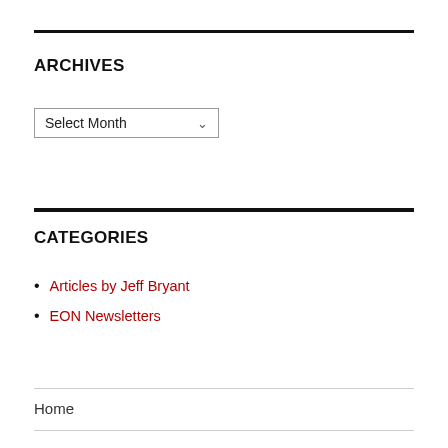ARCHIVES
Select Month
CATEGORIES
Articles by Jeff Bryant
EON Newsletters
Home